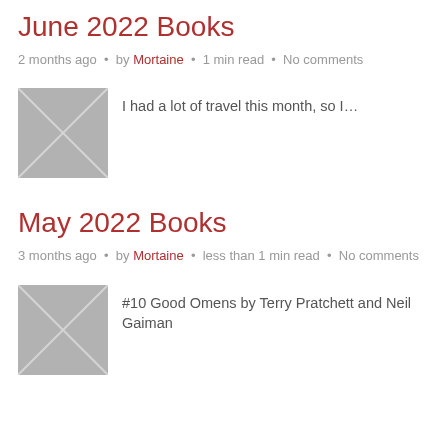June 2022 Books
2 months ago • by Mortaine • 1 min read • No comments
[Figure (illustration): Placeholder thumbnail image with grey background and X pattern]
I had a lot of travel this month, so I…
May 2022 Books
3 months ago • by Mortaine • less than 1 min read • No comments
[Figure (illustration): Placeholder thumbnail image with grey background and X pattern]
#10 Good Omens by Terry Pratchett and Neil Gaiman